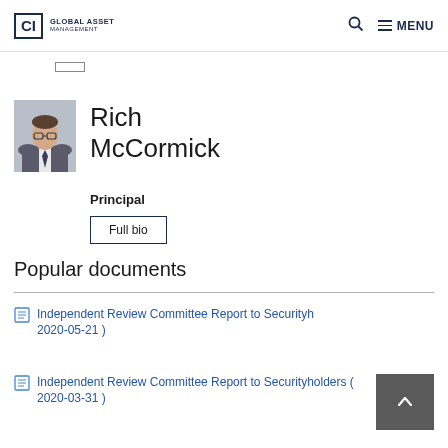CI Global Asset Management | MENU
[Figure (photo): Profile photo of Rich McCormick, a man in a suit and glasses, gray background]
Rich McCormick
Principal
Full bio
Popular documents
Independent Review Committee Report to Securityholders ( 2020-05-21 )
Independent Review Committee Report to Securityholders ( 2020-03-31 )